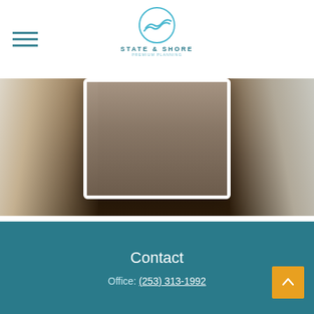State & Shore — navigation header with logo
[Figure (photo): Interior home photo showing hardwood floors, staircase on the left, a centered tablet/phone display showing a blurred hallway, and a chair/furniture on the right]
Can I Refinance My Mortgage?
This calculator can help determine whether it makes sense to refinance your mortgage.
Contact
Office: (253) 313-1992